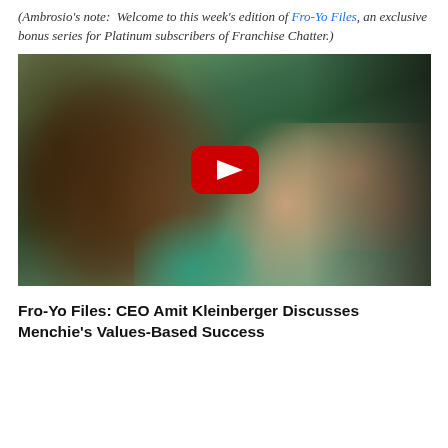(Ambrosio's note: Welcome to this week's edition of Fro-Yo Files, an exclusive bonus series for Platinum subscribers of Franchise Chatter.)
[Figure (photo): YouTube video thumbnail showing two people close together, one with curly hair, with a red YouTube play button overlay in the center.]
Fro-Yo Files: CEO Amit Kleinberger Discusses Menchie's Values-Based Success